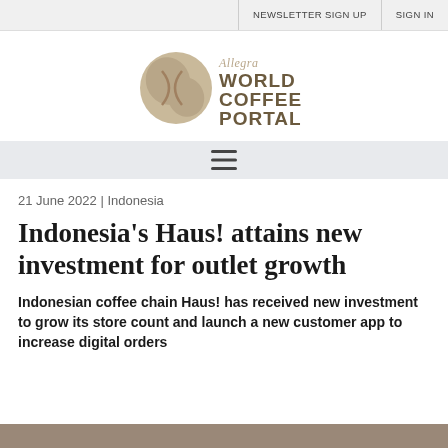NEWSLETTER SIGN UP   SIGN IN
[Figure (logo): Allegra World Coffee Portal logo with coffee bean graphic]
21 June 2022 | Indonesia
Indonesia's Haus! attains new investment for outlet growth
Indonesian coffee chain Haus! has received new investment to grow its store count and launch a new customer app to increase digital orders
[Figure (photo): Partial image visible at bottom of page]